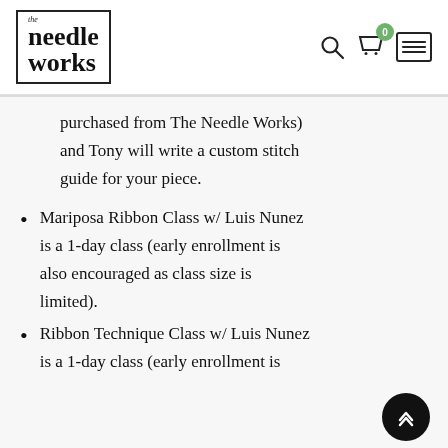the needle works — navigation header with search, cart (0), and menu icons
purchased from The Needle Works) and Tony will write a custom stitch guide for your piece.
Mariposa Ribbon Class w/ Luis Nunez is a 1-day class (early enrollment is also encouraged as class size is limited).
Ribbon Technique Class w/ Luis Nunez is a 1-day class (early enrollment is